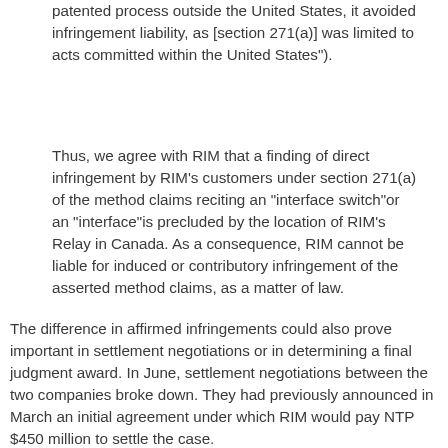patented process outside the United States, it avoided infringement liability, as [section 271(a)] was limited to acts committed within the United States").
Thus, we agree with RIM that a finding of direct infringement by RIM's customers under section 271(a) of the method claims reciting an "interface switch"or an "interface"is precluded by the location of RIM's Relay in Canada. As a consequence, RIM cannot be liable for induced or contributory infringement of the asserted method claims, as a matter of law.
The difference in affirmed infringements could also prove important in settlement negotiations or in determining a final judgment award. In June, settlement negotiations between the two companies broke down. They had previously announced in March an initial agreement under which RIM would pay NTP $450 million to settle the case.